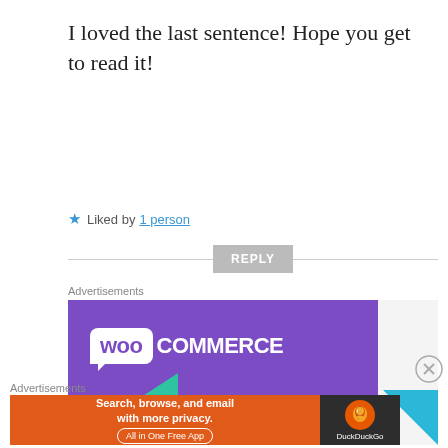I loved the last sentence! Hope you get to read it!
★ Liked by 1 person
REPLY
Advertisements
[Figure (illustration): WooCommerce advertisement banner with purple speech bubble logo and 'How to start selling' text]
Advertisements
[Figure (illustration): DuckDuckGo advertisement: 'Search, browse, and email with more privacy. All in One Free App']